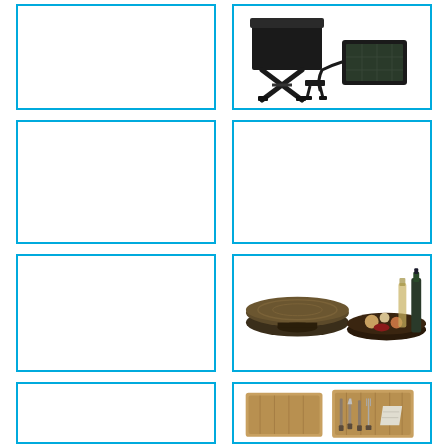[Figure (photo): Empty product cell with blue border (row 1, col 1)]
[Figure (photo): Folding stool/table set with solar panel accessory, dark metal/wood frames]
[Figure (photo): Empty product cell with blue border (row 2, col 1)]
[Figure (photo): Empty product cell with blue border (row 2, col 2)]
[Figure (photo): Empty product cell with blue border (row 3, col 1)]
[Figure (photo): Round dark wooden lazy susan/serving board and charcuterie board with cheeses and wine bottle]
[Figure (photo): Empty product cell with blue border (row 4, col 1)]
[Figure (photo): Wooden cheese board set in open box with cheese knives/tools]